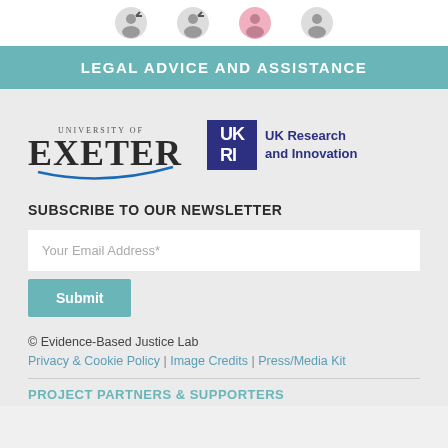[Figure (illustration): Four partially visible circular icons/avatars at the top of the page]
LEGAL ADVICE AND ASSISTANCE
[Figure (logo): University of Exeter logo and UK Research and Innovation (UKRI) logo side by side]
SUBSCRIBE TO OUR NEWSLETTER
Your Email Address*
Submit
© Evidence-Based Justice Lab
Privacy & Cookie Policy | Image Credits | Press/Media Kit
PROJECT PARTNERS & SUPPORTERS